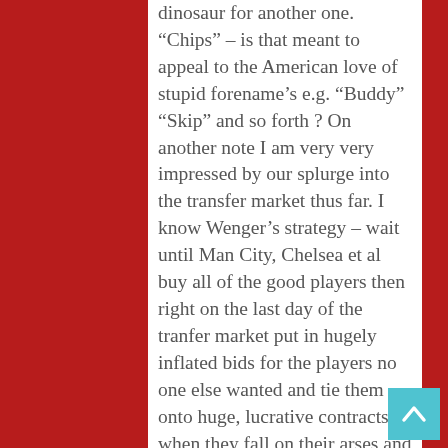dinosaur for another one. “Chips” – is that meant to appeal to the American love of stupid forename’s e.g. “Buddy” “Skip” and so forth ? On another note I am very very impressed by our splurge into the transfer market thus far. I know Wenger’s strategy – wait until Man City, Chelsea et al buy all of the good players then right on the last day of the tranfer market put in hugely inflated bids for the players no one else wanted and tie them onto huge, lucrative contracts so when they fall on their arses and prove themselves to be utterly useless a la Santos we won’t be able to offload them because no one will want them – the Wenger way !